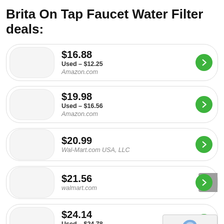Brita On Tap Faucet Water Filter deals:
$16.88 | Used – $12.25 | Amazon.com
$19.98 | Used – $16.56 | Amazon.com
$20.99 | Wal-Mart.com USA, LLC
$21.56 | walmart.com
$24.14 | Used – $24.78 | Amazon.com
$56.73 | Amazon.com